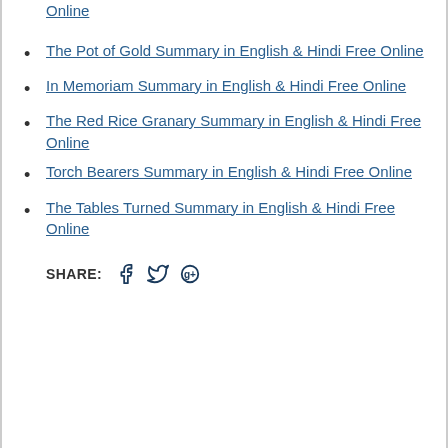Online
The Pot of Gold Summary in English & Hindi Free Online
In Memoriam Summary in English & Hindi Free Online
The Red Rice Granary Summary in English & Hindi Free Online
Torch Bearers Summary in English & Hindi Free Online
The Tables Turned Summary in English & Hindi Free Online
SHARE: